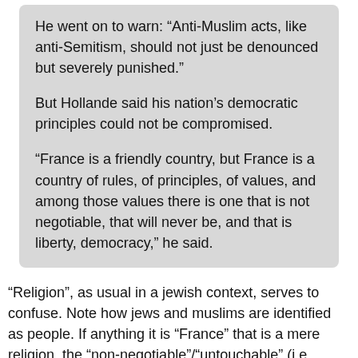He went on to warn: “Anti-Muslim acts, like anti-Semitism, should not just be denounced but severely punished.”

But Hollande said his nation’s democratic principles could not be compromised.

“France is a friendly country, but France is a country of rules, of principles, of values, and among those values there is one that is not negotiable, that will never be, and that is liberty, democracy,” he said.
“Religion”, as usual in a jewish context, serves to confuse. Note how jews and muslims are identified as people. If anything it is “France” that is a mere religion, the “non-negotiable”/“untouchable” (i.e. sacred) ideas of “open society”. For the president of France, the French as a people rate no mention, much less care.